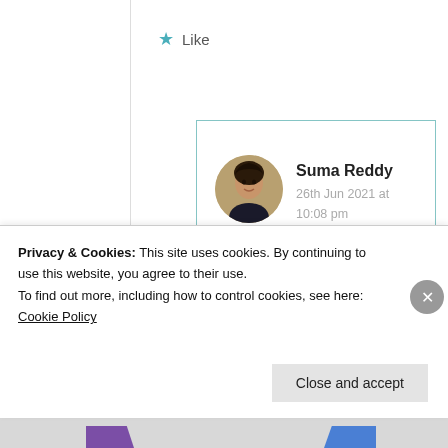Like
Suma Reddy
26th Jun 2021 at 10:08 pm
Thank you 😊
Like
Privacy & Cookies: This site uses cookies. By continuing to use this website, you agree to their use.
To find out more, including how to control cookies, see here: Cookie Policy
Close and accept